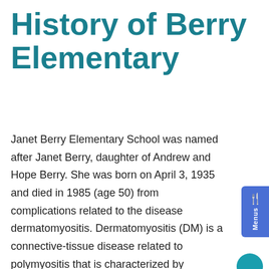History of Berry Elementary
Janet Berry Elementary School was named after Janet Berry, daughter of Andrew and Hope Berry. She was born on April 3, 1935 and died in 1985 (age 50) from complications related to the disease dermatomyositis. Dermatomyositis (DM) is a connective-tissue disease related to polymyositis that is characterized by inflammation of the muscles and the skin. While DM most frequently affects the skin and muscles, it is a systemic disorder that may also affect the joints, the esophagus, the lungs, and the heart.